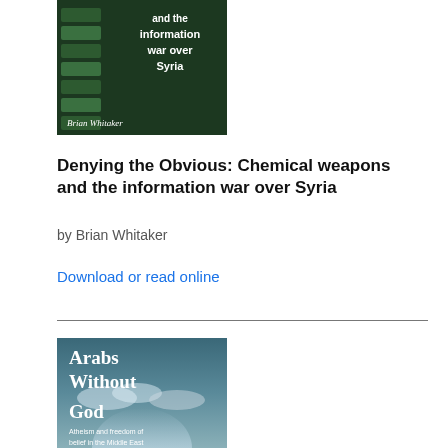[Figure (illustration): Book cover for 'Denying the Obvious: Chemical weapons and the information war over Syria' by Brian Whitaker. Dark green background with stacked green rectangular bars on left side and white title text on right side.]
Denying the Obvious: Chemical weapons and the information war over Syria
by Brian Whitaker
Download or read online
[Figure (illustration): Book cover for 'Arabs Without God: Atheism and freedom of belief in the Middle East'. Teal/grey background with dramatic sky imagery and white serif title text.]